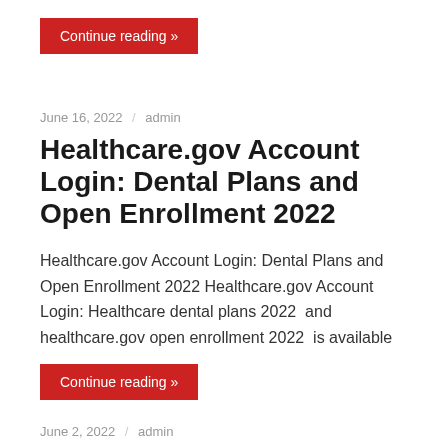Continue reading »
June 16, 2022 / admin
Healthcare.gov Account Login: Dental Plans and Open Enrollment 2022
Healthcare.gov Account Login: Dental Plans and Open Enrollment 2022 Healthcare.gov Account Login: Healthcare dental plans 2022  and  healthcare.gov open enrollment 2022  is available
Continue reading »
June 2, 2022 / admin